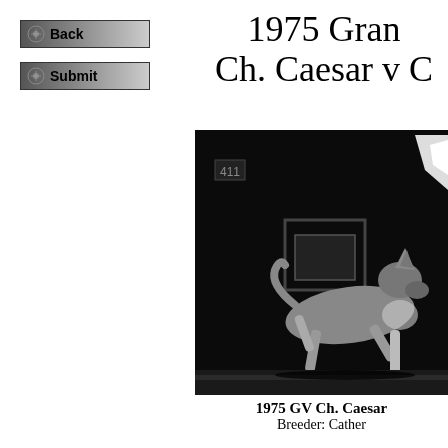[Figure (screenshot): Back navigation button with gradient background]
[Figure (screenshot): Submit navigation button with gradient background]
1975 Gran Ch. Caesar v C
[Figure (photo): Black and white photograph of a dog (German Shepherd) trotting, with dark background and some equipment visible]
1975 GV Ch. Caesar
Breeder: Cather